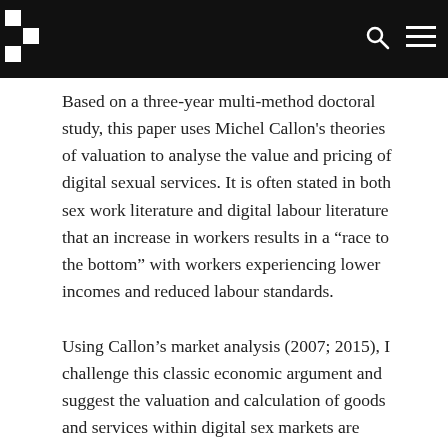[Navigation bar with logo, search and menu icons]
Based on a three-year multi-method doctoral study, this paper uses Michel Callon's theories of valuation to analyse the value and pricing of digital sexual services. It is often stated in both sex work literature and digital labour literature that an increase in workers results in a “race to the bottom” with workers experiencing lower incomes and reduced labour standards.
Using Callon’s market analysis (2007; 2015), I challenge this classic economic argument and suggest the valuation and calculation of goods and services within digital sex markets are constructed and maintained through multiple market devices.
In the paper I focus on the technical architecture that promotes online browsing and free access to services.